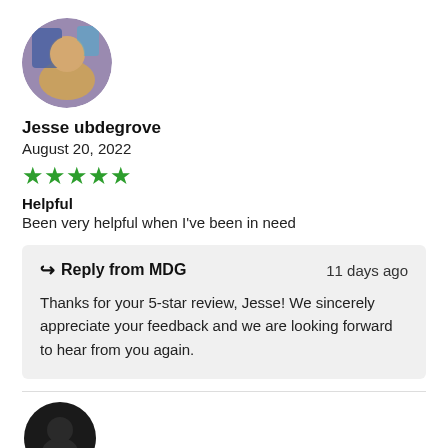[Figure (photo): Circular profile photo of reviewer Jesse ubdegrove]
Jesse ubdegrove
August 20, 2022
[Figure (other): 5 green star rating]
Helpful
Been very helpful when I've been in need
Reply from MDG   11 days ago
Thanks for your 5-star review, Jesse! We sincerely appreciate your feedback and we are looking forward to hear from you again.
[Figure (photo): Partial circular profile avatar for next reviewer, dark/black circle]